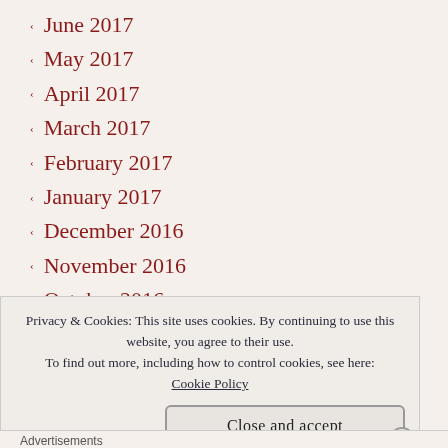June 2017
May 2017
April 2017
March 2017
February 2017
January 2017
December 2016
November 2016
October 2016
September 2016
August 2016
Privacy & Cookies: This site uses cookies. By continuing to use this website, you agree to their use.
To find out more, including how to control cookies, see here: Cookie Policy
Close and accept
Advertisements